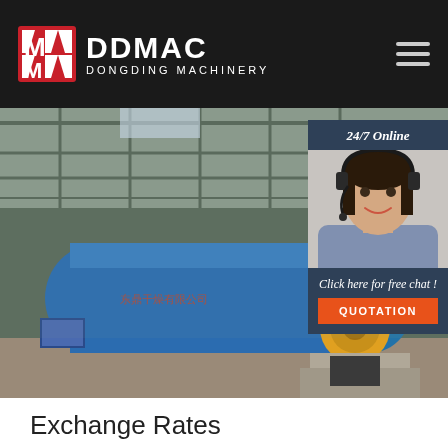DDMAC DONGDING MACHINERY
[Figure (photo): Industrial rotary dryer machine with large blue cylindrical drum inside a warehouse/factory building, yellow metal gear mechanism visible]
[Figure (photo): 24/7 Online chat widget showing a smiling female customer service representative wearing a headset, with 'Click here for free chat!' text and QUOTATION button]
Exchange Rates
World currency exchange rates and currency